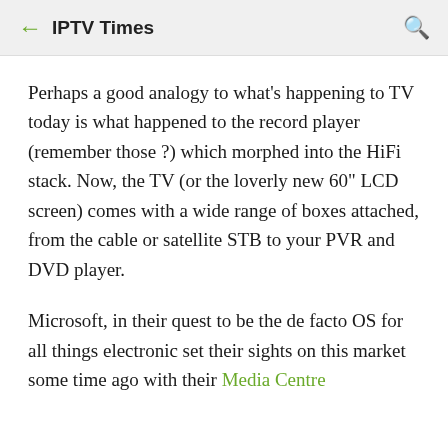← IPTV Times 🔍
Perhaps a good analogy to what's happening to TV today is what happened to the record player (remember those ?) which morphed into the HiFi stack. Now, the TV (or the loverly new 60" LCD screen) comes with a wide range of boxes attached, from the cable or satellite STB to your PVR and DVD player.
Microsoft, in their quest to be the de facto OS for all things electronic set their sights on this market some time ago with their Media Centre